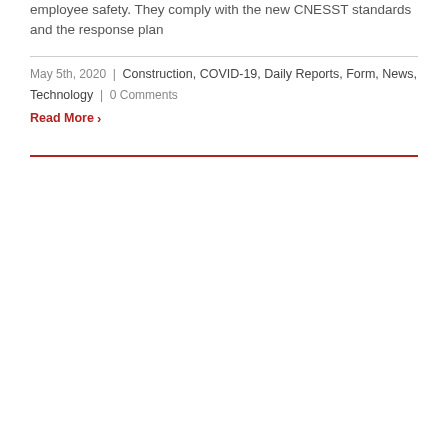employee safety. They comply with the new CNESST standards and the response plan
May 5th, 2020 | Construction, COVID-19, Daily Reports, Form, News, Technology | 0 Comments
Read More >